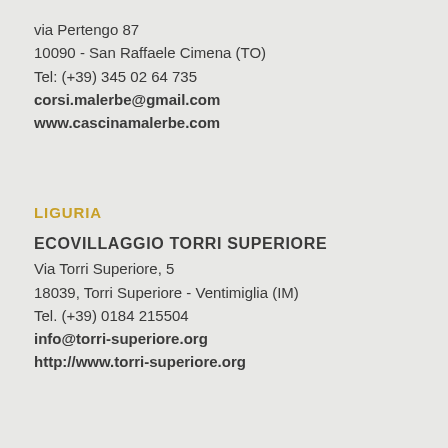via Pertengo 87
10090 - San Raffaele Cimena (TO)
Tel: (+39) 345 02 64 735
corsi.malerbe@gmail.com
www.cascinamalerbe.com
LIGURIA
ECOVILLAGGIO TORRI SUPERIORE
Via Torri Superiore, 5
18039, Torri Superiore - Ventimiglia (IM)
Tel. (+39) 0184 215504
info@torri-superiore.org
http://www.torri-superiore.org